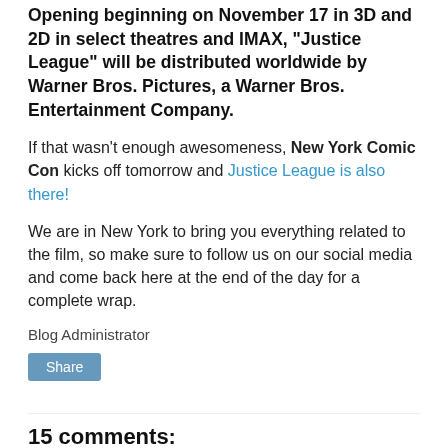Opening beginning on November 17 in 3D and 2D in select theatres and IMAX, “Justice League” will be distributed worldwide by Warner Bros. Pictures, a Warner Bros. Entertainment Company.
If that wasn't enough awesomeness, New York Comic Con kicks off tomorrow and Justice League is also there!
We are in New York to bring you everything related to the film, so make sure to follow us on our social media and come back here at the end of the day for a complete wrap.
Blog Administrator
Share
15 comments:
Unknown October 4, 2017 at 8:03 PM
For those of us who can't be there...Thank you Yvette for sharing the AWEsomeness. BTW...how's the weather?